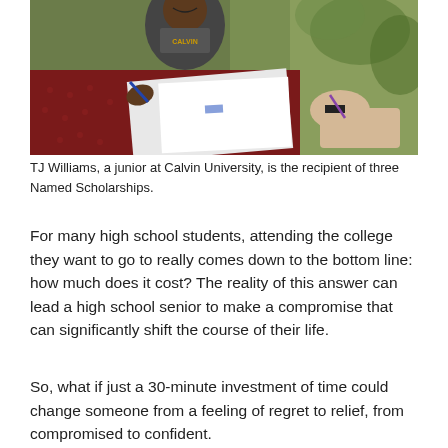[Figure (photo): A smiling young man wearing a grey Calvin University sweatshirt sits at an outdoor red table with books and papers, gesturing with a pen while another person's hand reaches toward him with a pen; green bushes and grass are visible in the background.]
TJ Williams, a junior at Calvin University, is the recipient of three Named Scholarships.
For many high school students, attending the college they want to go to really comes down to the bottom line: how much does it cost? The reality of this answer can lead a high school senior to make a compromise that can significantly shift the course of their life.
So, what if just a 30-minute investment of time could change someone from a feeling of regret to relief, from compromised to confident.